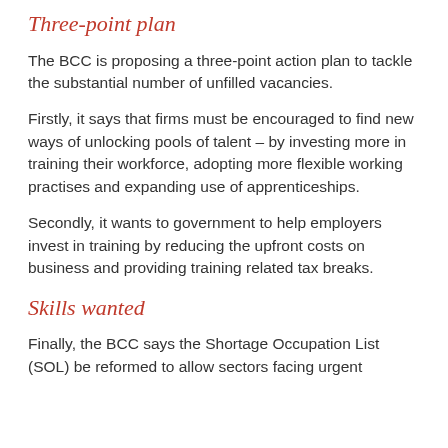Three-point plan
The BCC is proposing a three-point action plan to tackle the substantial number of unfilled vacancies.
Firstly, it says that firms must be encouraged to find new ways of unlocking pools of talent – by investing more in training their workforce, adopting more flexible working practises and expanding use of apprenticeships.
Secondly, it wants to government to help employers invest in training by reducing the upfront costs on business and providing training related tax breaks.
Skills wanted
Finally, the BCC says the Shortage Occupation List (SOL) be reformed to allow sectors facing urgent